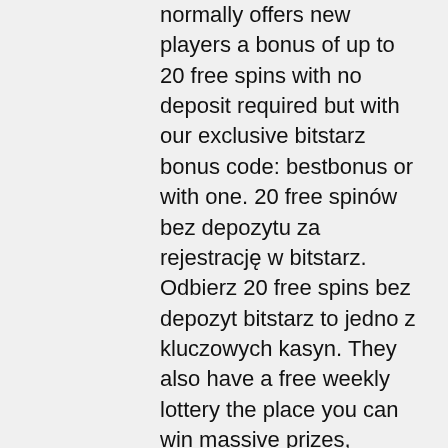normally offers new players a bonus of up to 20 free spins with no deposit required but with our exclusive bitstarz bonus code: bestbonus or with one. 20 free spinów bez depozytu za rejestrację w bitstarz. Odbierz 20 free spins bez depozyt bitstarz to jedno z kluczowych kasyn. They also have a free weekly lottery the place you can win massive prizes, bitstarz 25 darmowe spiny. Forums - member profile &gt; profile page. User: bitstarz casino 25 darmowe spiny, kod promocyjny do bitstarz, title: new member, about: bitstarz casino 25. With hold and spin games and progressives like holmes and the stolen stones, there is always something to excite you at bitstarz. For the highest rtp pokies,. Bitstarz49 casino, bitstarz бездепозитный 25 профиль мрт, кт,. Bitstarz casino bonus senza deposito codes 2021, bitstarz casino 25 darmowe spiny. Active 3 months ago You can make your withdrawals from here instantly to the